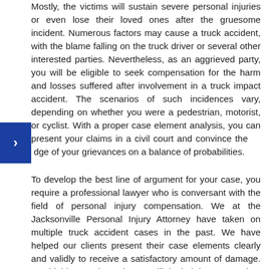Mostly, the victims will sustain severe personal injuries or even lose their loved ones after the gruesome incident. Numerous factors may cause a truck accident, with the blame falling on the truck driver or several other interested parties. Nevertheless, as an aggrieved party, you will be eligible to seek compensation for the harm and losses suffered after involvement in a truck impact accident. The scenarios of such incidences vary, depending on whether you were a pedestrian, motorist, or cyclist. With a proper case element analysis, you can present your claims in a civil court and convince the judge of your grievances on a balance of probabilities.
To develop the best line of argument for your case, you require a professional lawyer who is conversant with the field of personal injury compensation. We at the Jacksonville Personal Injury Attorney have taken on multiple truck accident cases in the past. We have helped our clients present their case elements clearly and validly to receive a satisfactory amount of damage. Our highly experienced team will do their best to conduct in-depth investigations and collect all evidence supporting your claims, to ensure that our